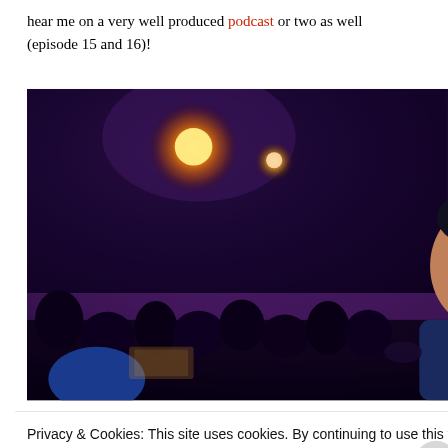hear me on a very well produced podcast or two as well (episode 15 and 16)!
[Figure (photo): Concert venue photo showing a crowd of people from behind, stage lighting with orange/warm spotlights overhead, a smiling young man visible on the right side facing the camera, dark purple/blue atmosphere throughout.]
Privacy & Cookies: This site uses cookies. By continuing to use this website, you agree to their use.
To find out more, including how to control cookies, see here: Cookie Policy
Close and accept